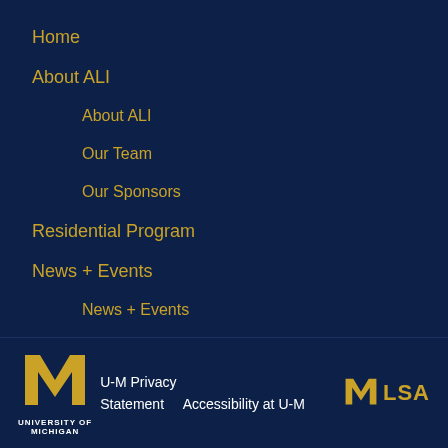Home
About ALI
About ALI
Our Team
Our Sponsors
Residential Program
News + Events
News + Events
ALI Webinar Series
U-M Privacy Statement   Accessibility at U-M